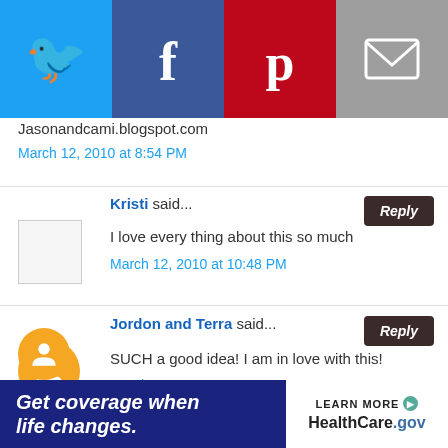[Figure (infographic): Social sharing bar with Twitter (blue), Facebook (dark blue), Pinterest (red), and Email (gray) buttons with white icons]
Jasonandcami.blogspot.com
March 12, 2010 at 8:54 PM
Kristi said...
I love every thing about this so much
March 12, 2010 at 10:48 PM
Jordon and Terra said...
SUCH a good idea! I am in love with this!
March 13, 2010 at 12:43 PM
Kristen Arnett said
[Figure (infographic): Advertisement banner: Get coverage when life changes. HealthCare.gov - LEARN MORE]